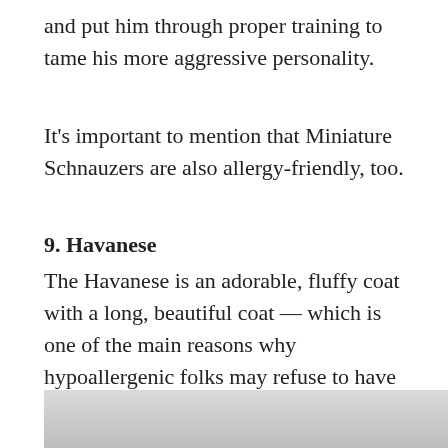and put him through proper training to tame his more aggressive personality.
It's important to mention that Miniature Schnauzers are also allergy-friendly, too.
9. Havanese
The Havanese is an adorable, fluffy coat with a long, beautiful coat — which is one of the main reasons why hypoallergenic folks may refuse to have this dog in the home.
[Figure (photo): Partial photo of a Havanese dog, mostly showing a light gray/white background at the bottom of the page]